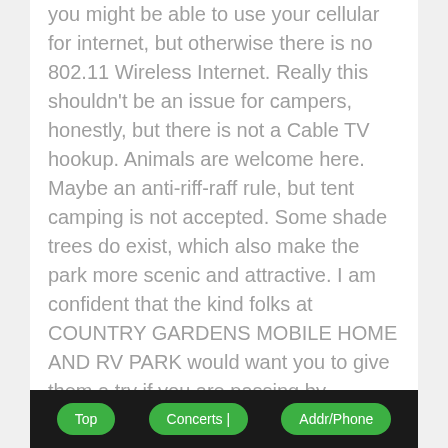you might be able to use your cellular for internet, but otherwise there is no 802.11 Wireless Internet. Really this shouldn't be an issue for campers, honestly, but there is not a Cable TV hookup. Animals are welcome here. Maybe an anti-riff-raff rule, but tent camping is not accepted. Some shade trees do exist, which also make the park more scenic and attractive. I am confident that the kind folks at COUNTRY GARDENS MOBILE HOME AND RV PARK would want you to give them a try if you are passing by Strasburg.
Top | Concerts | Addr/Phone